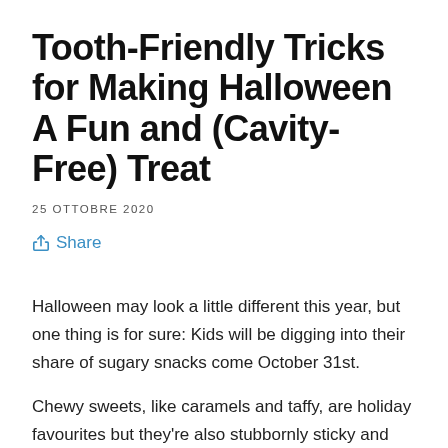Tooth-Friendly Tricks for Making Halloween A Fun and (Cavity-Free) Treat
25 OTTOBRE 2020
Share
Halloween may look a little different this year, but one thing is for sure: Kids will be digging into their share of sugary snacks come October 31st.
Chewy sweets, like caramels and taffy, are holiday favourites but they're also stubbornly sticky and are known to get lodged in between teeth. Meanwhile, hard candies (think: lollipops and ring pops) allow